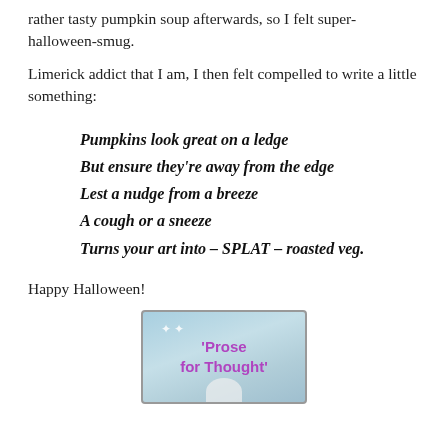rather tasty pumpkin soup afterwards, so I felt super-halloween-smug.
Limerick addict that I am, I then felt compelled to write a little something:
Pumpkins look great on a ledge
But ensure they're away from the edge
Lest a nudge from a breeze
A cough or a sneeze
Turns your art into – SPLAT – roasted veg.
Happy Halloween!
[Figure (illustration): A blue-toned square badge/logo with the text 'Prose for Thought' in purple bold text, with sparkle/star decorations and a ghost shape at the bottom.]